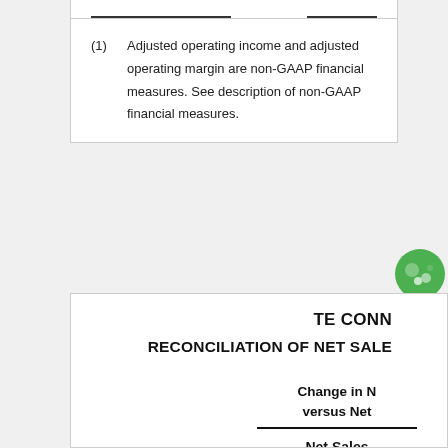(1) Adjusted operating income and adjusted operating margin are non-GAAP financial measures. See description of non-GAAP financial measures.
TE CONN
RECONCILIATION OF NET SALE
| Change in N versus Net | Net Sales | Growth (Decline) |
| --- | --- | --- |